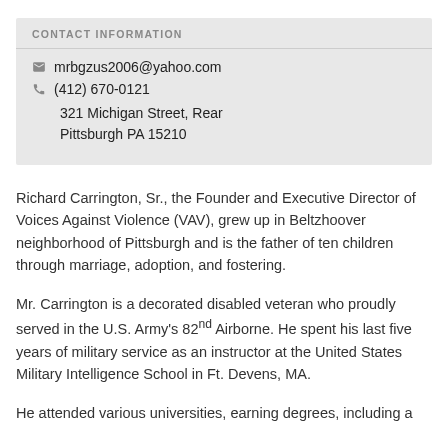CONTACT INFORMATION
mrbgzus2006@yahoo.com
(412) 670-0121
321 Michigan Street, Rear
Pittsburgh PA 15210
Richard Carrington, Sr., the Founder and Executive Director of Voices Against Violence (VAV), grew up in Beltzhoover neighborhood of Pittsburgh and is the father of ten children through marriage, adoption, and fostering.
Mr. Carrington is a decorated disabled veteran who proudly served in the U.S. Army's 82nd Airborne. He spent his last five years of military service as an instructor at the United States Military Intelligence School in Ft. Devens, MA.
He attended various universities, earning degrees, including a